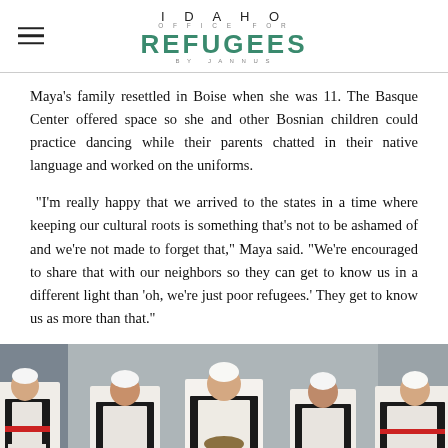IDAHO OFFICE FOR REFUGEES by JANNUS
Maya's family resettled in Boise when she was 11. The Basque Center offered space so she and other Bosnian children could practice dancing while their parents chatted in their native language and worked on the uniforms.
“I’m really happy that we arrived to the states in a time where keeping our cultural roots is something that’s not to be ashamed of and we’re not made to forget that,” Maya said. “We’re encouraged to share that with our neighbors so they can get to know us in a different light than ‘oh, we’re just poor refugees.’ They get to know us as more than that.”
[Figure (photo): Group of people in traditional Bosnian/Balkan folk dance costumes — white shirts, black vests, standing on a stage or outdoor platform with a grey backdrop.]